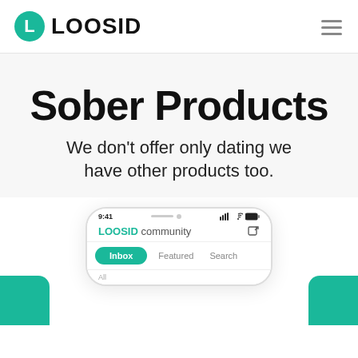LOOSID
Sober Products
We don't offer only dating we have other products too.
[Figure (screenshot): Mobile app screenshot showing LOOSID community app with inbox, Featured, and Search tabs. Status bar shows 9:41 time. Green accent color throughout.]